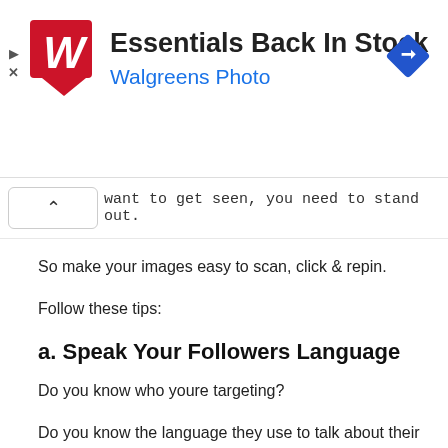[Figure (other): Walgreens Photo advertisement banner showing the Walgreens logo (red W on white background with red tag), text 'Essentials Back In Stock' and 'Walgreens Photo' in blue, a blue diamond navigation icon on the right, and small play/close icons on the left.]
want to get seen, you need to stand out.
So make your images easy to scan, click & repin.
Follow these tips:
a. Speak Your Followers Language
Do you know who youre targeting?
Do you know the language they use to talk about their favorite topics?
If you speak their language, using their diction &